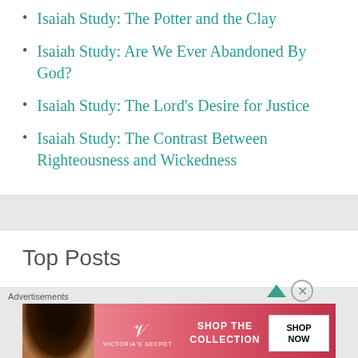Isaiah Study: The Potter and the Clay
Isaiah Study: Are We Ever Abandoned By God?
Isaiah Study: The Lord’s Desire for Justice
Isaiah Study: The Contrast Between Righteousness and Wickedness
Top Posts
[Figure (photo): Victoria’s Secret advertisement banner with model and shop the collection text]